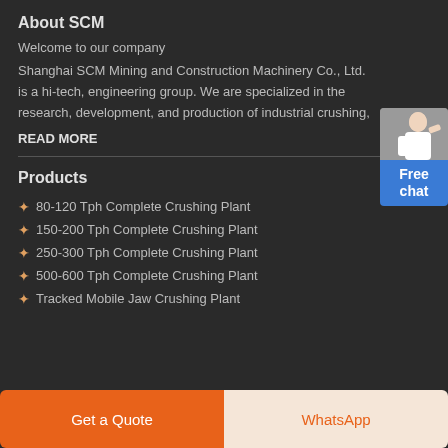About SCM
Welcome to our company
Shanghai SCM Mining and Construction Machinery Co., Ltd. is a hi-tech, engineering group. We are specialized in the research, development, and production of industrial crushing,
READ MORE
Products
80-120 Tph Complete Crushing Plant
150-200 Tph Complete Crushing Plant
250-300 Tph Complete Crushing Plant
500-600 Tph Complete Crushing Plant
Tracked Mobile Jaw Crushing Plant
[Figure (illustration): Customer service representative with Free chat button widget]
Get a Quote
WhatsApp